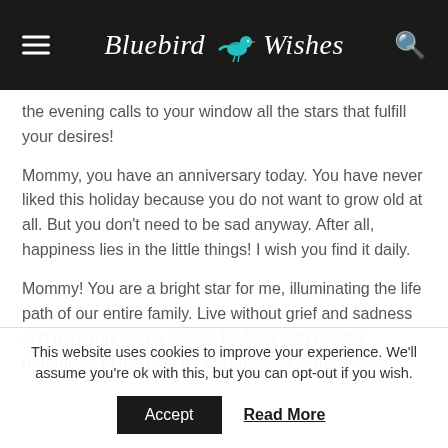Bluebird Wishes
the evening calls to your window all the stars that fulfill your desires!
Mommy, you have an anniversary today. You have never liked this holiday because you do not want to grow old at all. But you don't need to be sad anyway. After all, happiness lies in the little things! I wish you find it daily.
Mommy! You are a bright star for me, illuminating the life path of our entire family. Live without grief and sadness and may your home always be filled with holiday regardless of the date on the calendar or the season.
This website uses cookies to improve your experience. We'll assume you're ok with this, but you can opt-out if you wish.